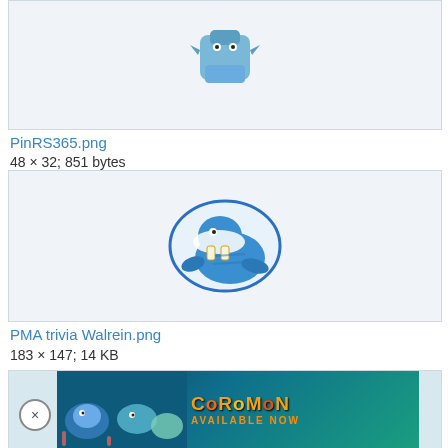[Figure (illustration): A cropped image box showing the top portion of a pixel-art style blue Pokemon sprite against a light gray background]
PinRS365.png
48 × 32; 851 bytes
[Figure (illustration): A circular oval-bordered illustration of Walrein, a blue walrus-like Pokemon with large tusks and a white mane, on a light gray background]
PMA trivia Walrein.png
183 × 147; 14 KB
[Figure (illustration): Partially visible image box at bottom with an advertisement banner overlay showing the Coromon game logo with text AVAILABLE NOW and illustrated sea creature characters]
× (close button) | Coromon AVAILABLE NOW advertisement banner